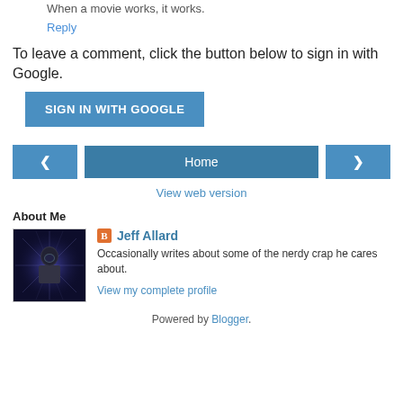When a movie works, it works.
Reply
To leave a comment, click the button below to sign in with Google.
SIGN IN WITH GOOGLE
‹
Home
›
View web version
About Me
[Figure (photo): Profile photo of Jeff Allard, showing a sci-fi themed illustration of a person with a helmet against a purple/blue starburst background]
Jeff Allard
Occasionally writes about some of the nerdy crap he cares about.
View my complete profile
Powered by Blogger.